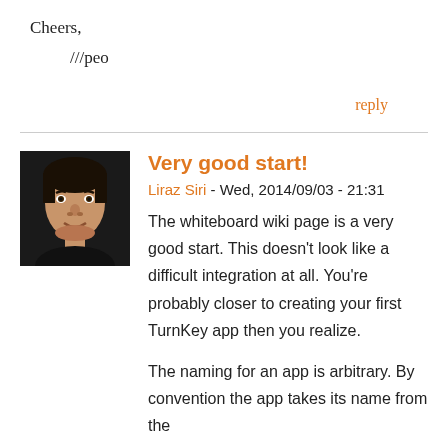Cheers,
///peo
reply
Very good start!
Liraz Siri - Wed, 2014/09/03 - 21:31
[Figure (photo): Portrait photo of a young man with dark hair, smiling slightly, against a dark background.]
The whiteboard wiki page is a very good start. This doesn't look like a difficult integration at all. You're probably closer to creating your first TurnKey app then you realize.
The naming for an app is arbitrary. By convention the app takes its name from the